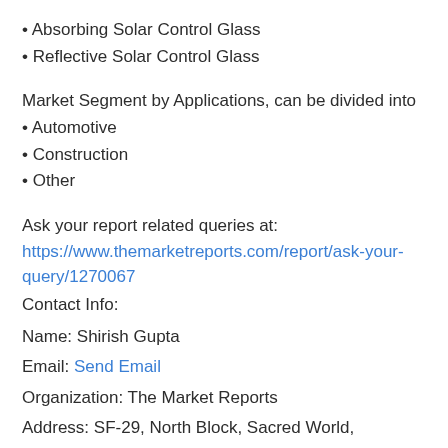• Absorbing Solar Control Glass
• Reflective Solar Control Glass
Market Segment by Applications, can be divided into
• Automotive
• Construction
• Other
Ask your report related queries at:
https://www.themarketreports.com/report/ask-your-query/1270067
Contact Info:
Name: Shirish Gupta
Email: Send Email
Organization: The Market Reports
Address: SF-29, North Block, Sacred World,